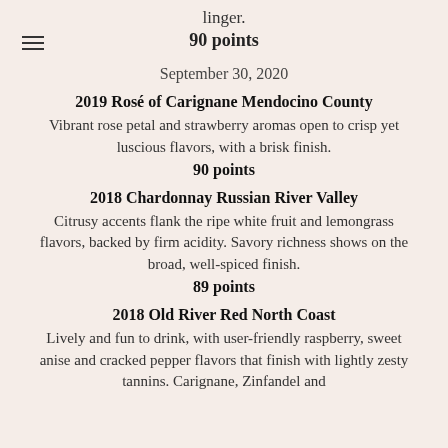linger.
90 points
September 30, 2020
2019 Rosé of Carignane Mendocino County
Vibrant rose petal and strawberry aromas open to crisp yet luscious flavors, with a brisk finish.
90 points
2018 Chardonnay Russian River Valley
Citrusy accents flank the ripe white fruit and lemongrass flavors, backed by firm acidity. Savory richness shows on the broad, well-spiced finish.
89 points
2018 Old River Red North Coast
Lively and fun to drink, with user-friendly raspberry, sweet anise and cracked pepper flavors that finish with lightly zesty tannins. Carignane, Zinfandel and